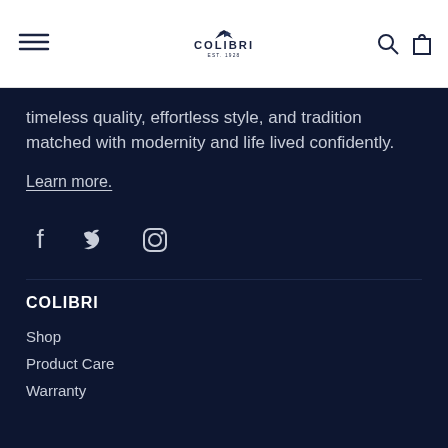[Figure (logo): Colibri logo with bird icon and EST. 1928 text]
timeless quality, effortless style, and tradition matched with modernity and life lived confidently.
Learn more.
[Figure (infographic): Social media icons: Facebook, Twitter, Instagram]
COLIBRI
Shop
Product Care
Warranty